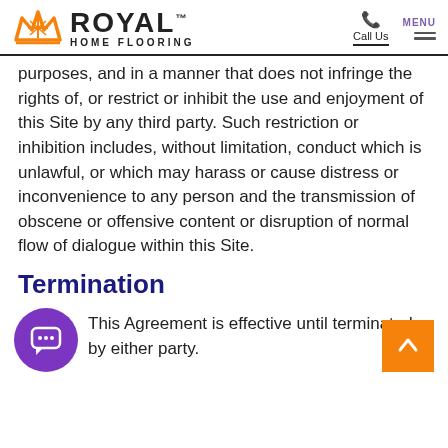[Figure (logo): Royal Home Flooring logo with orange crown and text]
purposes, and in a manner that does not infringe the rights of, or restrict or inhibit the use and enjoyment of this Site by any third party. Such restriction or inhibition includes, without limitation, conduct which is unlawful, or which may harass or cause distress or inconvenience to any person and the transmission of obscene or offensive content or disruption of normal flow of dialogue within this Site.
Termination
This Agreement is effective until terminated by either party.